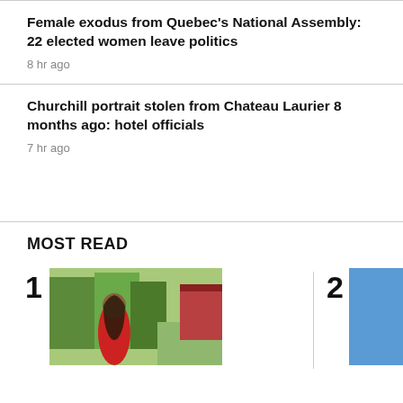Female exodus from Quebec's National Assembly: 22 elected women leave politics
8 hr ago
Churchill portrait stolen from Chateau Laurier 8 months ago: hotel officials
7 hr ago
MOST READ
[Figure (photo): News article item 1 thumbnail: woman in red shirt standing outdoors in a green park setting]
[Figure (photo): News article item 2 thumbnail: partial blue image]